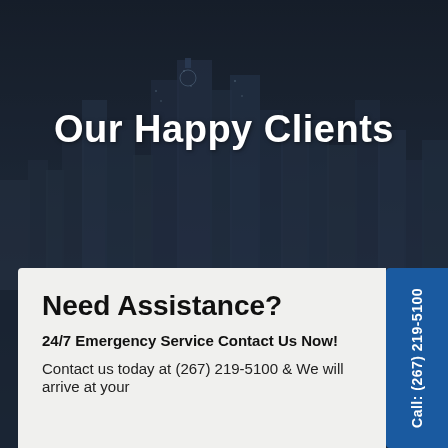[Figure (photo): Dark nighttime cityscape/skyline with tall buildings, dimly lit, overlaid with dark blue-grey tone]
Our Happy Clients
Need Assistance?
24/7 Emergency Service Contact Us Now!
Contact us today at (267) 219-5100 & We will arrive at your
Call: (267) 219-5100